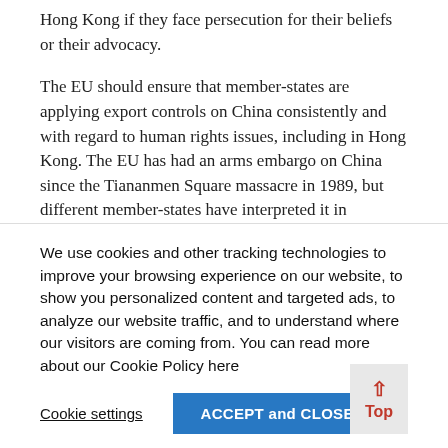Hong Kong if they face persecution for their beliefs or their advocacy.
The EU should ensure that member-states are applying export controls on China consistently and with regard to human rights issues, including in Hong Kong. The EU has had an arms embargo on China since the Tiananmen Square massacre in 1989, but different member-states have interpreted it in different ways. China is also a major destination for EU exports of dual-use goods (those with both a civilian and a military application). Work has been
We use cookies and other tracking technologies to improve your browsing experience on our website, to show you personalized content and targeted ads, to analyze our website traffic, and to understand where our visitors are coming from. You can read more about our Cookie Policy here
Cookie settings
ACCEPT and CLOSE
Top